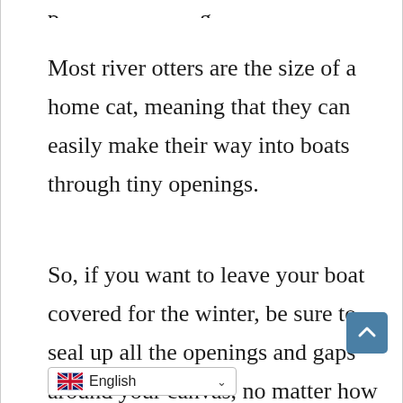Most river otters are the size of a home cat, meaning that they can easily make their way into boats through tiny openings.
So, if you want to leave your boat covered for the winter, be sure to seal up all the openings and gaps around your canvas, no matter how trivial they seem